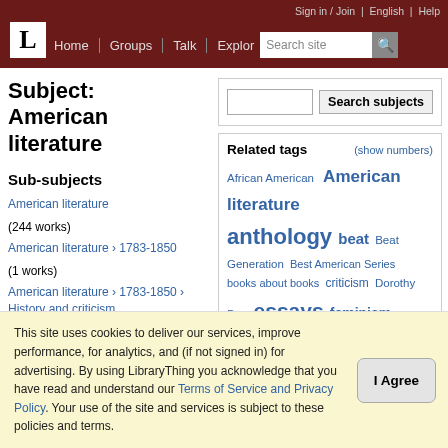Sign in / Join | English | Help | Home | Groups | Talk | Explore | Search site
Subject: American literature
Sub-subjects
American literature (244 works)
American literature › 1783-1850 (1 works)
American literature › 1783-1850 › History and criticism (14 works)
American literature ›
Search subjects
Related tags
(show numbers)
African American American literature anthology beat Beat Generation Best American Series books about books criticism Dorothy Day essays feminism Flannery O'Connor Harlem Renaissance literary criticism literary history literature nanotechnology non-fiction poetry reference short stories Walker Percy women women of color women's studies
Related Subjects
This site uses cookies to deliver our services, improve performance, for analytics, and (if not signed in) for advertising. By using LibraryThing you acknowledge that you have read and understand our Terms of Service and Privacy Policy. Your use of the site and services is subject to these policies and terms.
I Agree